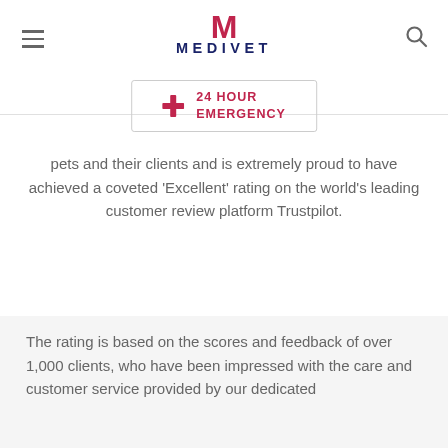MEDIVET
[Figure (logo): Medivet logo with stylized M in red and MEDIVET text in navy blue]
24 HOUR EMERGENCY
pets and their clients and is extremely proud to have achieved a coveted 'Excellent' rating on the world's leading customer review platform Trustpilot.
The rating is based on the scores and feedback of over 1,000 clients, who have been impressed with the care and customer service provided by our dedicated